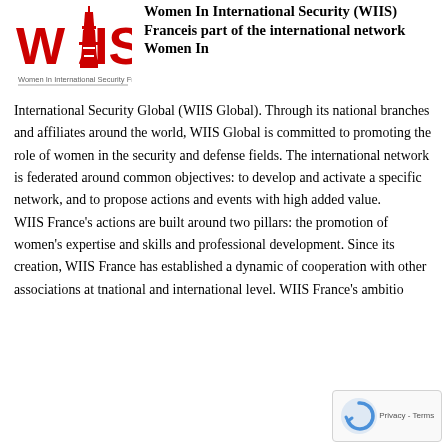[Figure (logo): WIIS France logo — red WIIS text with Eiffel Tower replacing the I, subtitle 'Women In International Security France']
Women In International Security (WIIS) France is part of the international network Women In International Security Global (WIIS Global). Through its national branches and affiliates around the world, WIIS Global is committed to promoting the role of women in the security and defense fields. The international network is federated around common objectives: to develop and activate a specific network, and to propose actions and events with high added value.
WIIS France’s actions are built around two pillars: the promotion of women’s expertise and skills and professional development. Since its creation, WIIS France has established a dynamic of cooperation with other associations at the national and international level. WIIS France’s ambitio...